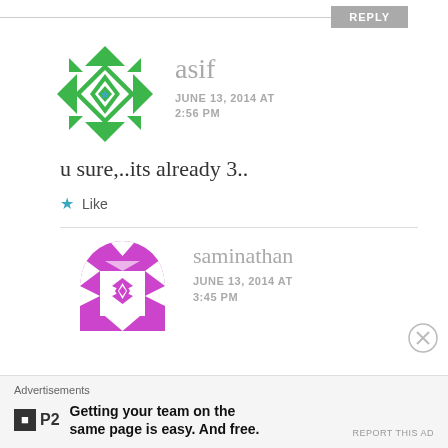REPLY
[Figure (illustration): Green geometric quilt-pattern avatar for user asif]
asif
JUNE 13, 2014 AT
2:56 PM
u sure,..its already 3..
★ Like
[Figure (illustration): Purple/magenta geometric quilt-pattern avatar for user saminathan]
saminathan
JUNE 13, 2014 AT
3:45 PM
Advertisements
[Figure (logo): P2 logo — dark square with P2 text]
Getting your team on the same page is easy. And free.